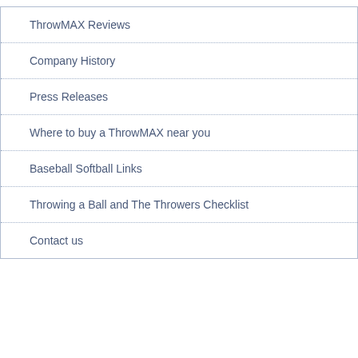ThrowMAX Reviews
Company History
Press Releases
Where to buy a ThrowMAX near you
Baseball Softball Links
Throwing a Ball and The Throwers Checklist
Contact us